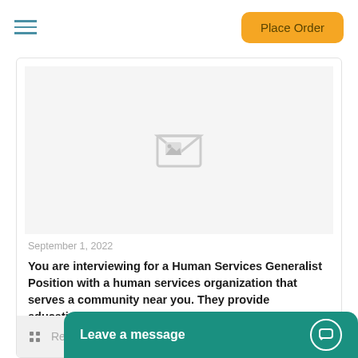Place Order
[Figure (photo): Image placeholder with broken image icon on light grey background]
September 1, 2022
You are interviewing for a Human Services Generalist Position with a human services organization that serves a community near you. They provide educational and employment resources to job-
Read more
Leave a message